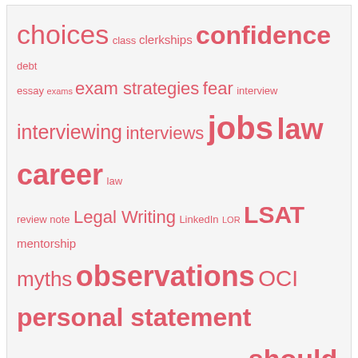[Figure (infographic): Tag cloud with law school related topics in pink/red text at varying sizes: choices, class, clerkships, confidence, debt, essay, exams, exam strategies, fear, interview, interviewing, interviews, jobs, law career, law review, note, Legal Writing, LinkedIn, LOR, LSAT, mentorship, myths, observations, OCI, personal statement, preparing, pro bono, public interest, rants, resume, should i go?, solo practice, student loans, summer associate, surviving, time management, tips, transfer, travelogue, women, writing skills]
Latest Posts
The Six Best Pieces of Advice I've Received as a 0L
Things I'm Stressing About Before Starting Law School (And What I'm Telling Myself)
What I Wish I Thought of a Month Before Law School
Managing Test Anxiety on the LSAT and Beyond
Five Things I'm Doing Now to Prepare for 1L Year